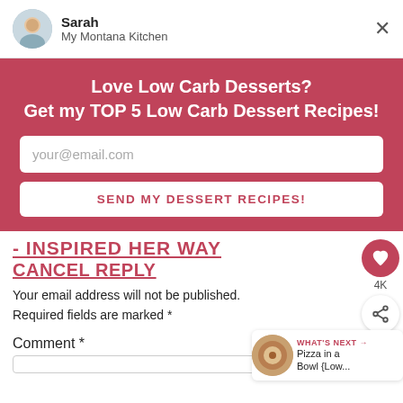Sarah
My Montana Kitchen
Love Low Carb Desserts?
Get my TOP 5 Low Carb Dessert Recipes!
your@email.com
SEND MY DESSERT RECIPES!
- INSPIRED HER WAY
CANCEL REPLY
Your email address will not be published. Required fields are marked *
Comment *
[Figure (other): 4K heart/like button widget with count]
[Figure (other): Share button widget]
[Figure (other): What's Next: Pizza in a Bowl {Low...} thumbnail widget]